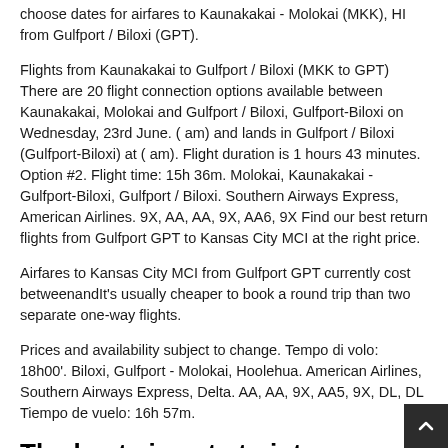choose dates for airfares to Kaunakakai - Molokai (MKK), HI from Gulfport / Biloxi (GPT).
Flights from Kaunakakai to Gulfport / Biloxi (MKK to GPT) There are 20 flight connection options available between Kaunakakai, Molokai and Gulfport / Biloxi, Gulfport-Biloxi on Wednesday, 23rd June. ( am) and lands in Gulfport / Biloxi (Gulfport-Biloxi) at ( am). Flight duration is 1 hours 43 minutes. Option #2. Flight time: 15h 36m. Molokai, Kaunakakai - Gulfport-Biloxi, Gulfport / Biloxi. Southern Airways Express, American Airlines. 9X, AA, AA, 9X, AA6, 9X Find our best return flights from Gulfport GPT to Kansas City MCI at the right price.
Airfares to Kansas City MCI from Gulfport GPT currently cost betweenandIt's usually cheaper to book a round trip than two separate one-way flights.
Prices and availability subject to change. Tempo di volo: 18h00'. Biloxi, Gulfport - Molokai, Hoolehua. American Airlines, Southern Airways Express, Delta. AA, AA, 9X, AA5, 9X, DL, DL Tiempo de vuelo: 16h 57m.
The best airports to int...